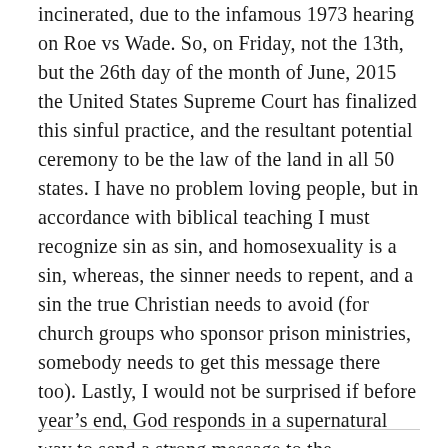incinerated, due to the infamous 1973 hearing on Roe vs Wade. So, on Friday, not the 13th, but the 26th day of the month of June, 2015 the United States Supreme Court has finalized this sinful practice, and the resultant potential ceremony to be the law of the land in all 50 states. I have no problem loving people, but in accordance with biblical teaching I must recognize sin as sin, and homosexuality is a sin, whereas, the sinner needs to repent, and a sin the true Christian needs to avoid (for church groups who sponsor prison ministries, somebody needs to get this message there too). Lastly, I would not be surprised if before year's end, God responds in a supernatural way to send a strong message to the government regarding His displeasure with this recent ruling. That is all I will say on this issue, since my aforementioned article goes deeper into it. God bless you.